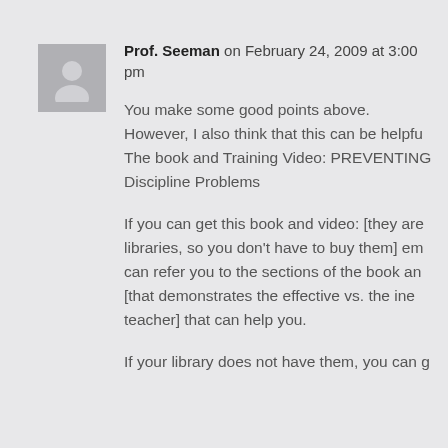[Figure (illustration): Generic user avatar icon: a grey square with a white silhouette of a person]
Prof. Seeman on February 24, 2009 at 3:00 pm
You make some good points above. However, I also think that this can be helpful. The book and Training Video: PREVENTING Discipline Problems
If you can get this book and video: [they are in libraries, so you don't have to buy them] email me, I can refer you to the sections of the book and video [that demonstrates the effective vs. the ineffective teacher] that can help you.
If your library does not have them, you can g